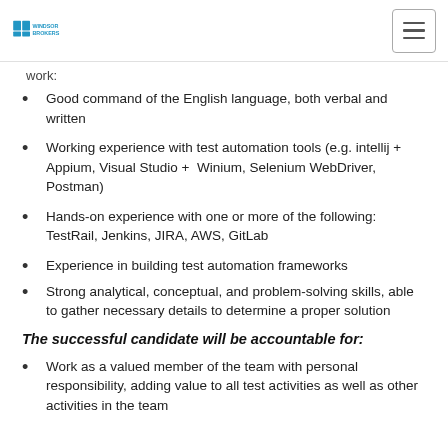Windsor Brokers logo and navigation
work:
Good command of the English language, both verbal and written
Working experience with test automation tools (e.g. intellij + Appium, Visual Studio + Winium, Selenium WebDriver, Postman)
Hands-on experience with one or more of the following: TestRail, Jenkins, JIRA, AWS, GitLab
Experience in building test automation frameworks
Strong analytical, conceptual, and problem-solving skills, able to gather necessary details to determine a proper solution
The successful candidate will be accountable for:
Work as a valued member of the team with personal responsibility, adding value to all test activities as well as other activities in the team